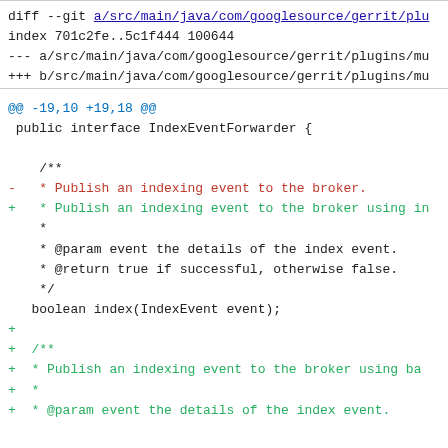diff --git a/src/main/java/com/googlesource/gerrit/plu
index 701c2fe..5c1f444 100644
--- a/src/main/java/com/googlesource/gerrit/plugins/mu
+++ b/src/main/java/com/googlesource/gerrit/plugins/mu
@@ -19,10 +19,18 @@
 public interface IndexEventForwarder {

     /**
-    * Publish an indexing event to the broker.
+    * Publish an indexing event to the broker using in
     *
     * @param event the details of the index event.
     * @return true if successful, otherwise false.
     */
    boolean index(IndexEvent event);
+
+   /**
+   * Publish an indexing event to the broker using ba
+   *
+   * @param event the details of the index event.